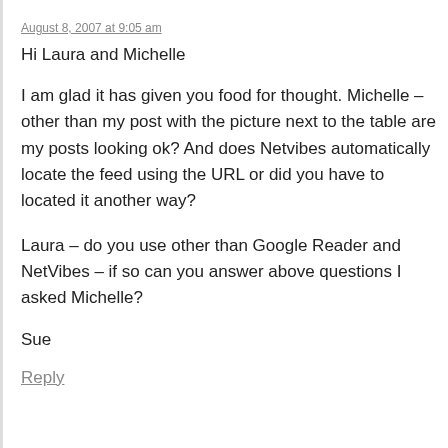August 8, 2007 at 9:05 am
Hi Laura and Michelle
I am glad it has given you food for thought. Michelle – other than my post with the picture next to the table are my posts looking ok? And does Netvibes automatically locate the feed using the URL or did you have to located it another way?
Laura – do you use other than Google Reader and NetVibes – if so can you answer above questions I asked Michelle?
Sue
Reply